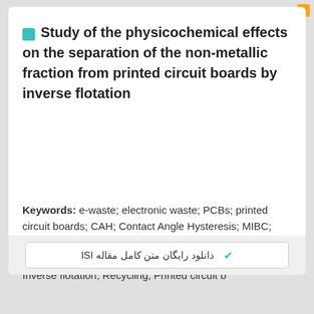Study of the physicochemical effects on the separation of the non-metallic fraction from printed circuit boards by inverse flotation
Keywords: e-waste; electronic waste; PCBs; printed circuit boards; CAH; Contact Angle Hysteresis; MIBC; Methyl Isobutyl Carbinol; Î¸A; advancing contact angle; Î¸R; resending contact angle; Wettability; Contact angle; Inverse flotation; Recycling; Printed circuit b
✔ دانلود رایگان متن کامل مقاله ISI